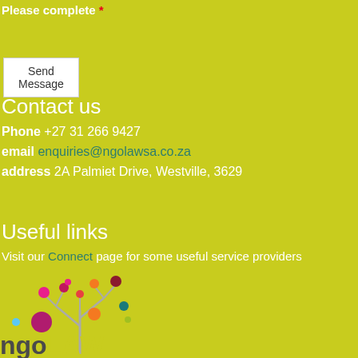Please complete *
Send Message
Contact us
Phone +27 31 266 9427
email enquiries@ngolawsa.co.za
address 2A Palmiet Drive, Westville, 3629
Useful links
Visit our Connect page for some useful service providers
[Figure (logo): NGO Law logo with colorful circles on a tree branch and text 'ngoLAW']